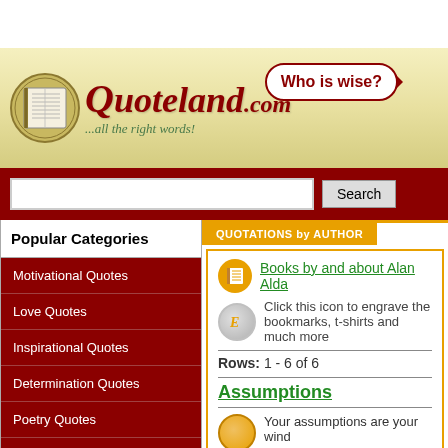[Figure (logo): Quoteland.com website header banner with book logo, cursive red Quoteland.com text, tagline '...all the right words!', and speech bubble saying 'Who is wise?']
Search
Popular Categories
Motivational Quotes
Love Quotes
Inspirational Quotes
Determination Quotes
Poetry Quotes
Teamwork Quotes
Sports Quotes
QUOTATIONS by AUTHOR
Books by and about Alan Alda
Click this icon to engrave the bookmarks, t-shirts and much more
Rows: 1 - 6 of 6
Assumptions
Your assumptions are your wind